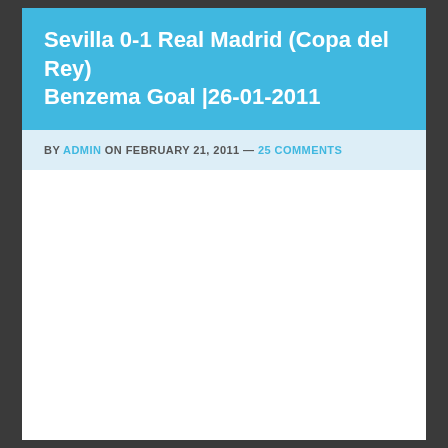Sevilla 0-1 Real Madrid (Copa del Rey) Benzema Goal |26-01-2011
BY ADMIN ON FEBRUARY 21, 2011 — 25 COMMENTS